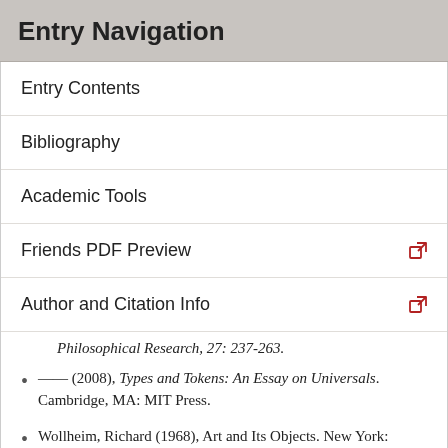Entry Navigation
Entry Contents
Bibliography
Academic Tools
Friends PDF Preview
Author and Citation Info
Philosophical Research, 27: 237-263.
— (2008), Types and Tokens: An Essay on Universals. Cambridge, MA: MIT Press.
Wollheim, Richard (1968), Art and Its Objects. New York: Harper and Row.
Wolterstorff, Nicholas (1980), Works and Worlds of Art. Oxford: Clarendon Press.
— (1975), "Toward An Ontology of Art Works," Noûs, 9: 115-142.
— (1970), On Universals: An Essay in Ontology